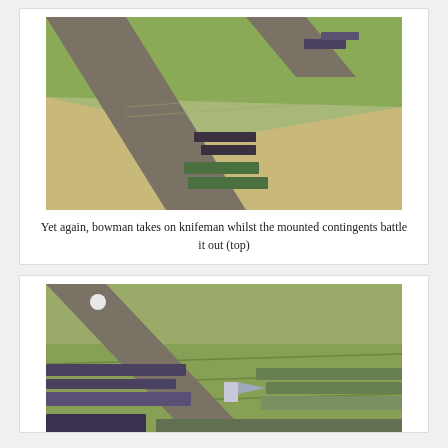[Figure (photo): Aerial/overhead view of a wargame table showing miniature soldiers arranged in formation on a green and sandy terrain mat with a road running diagonally. Infantry units (bowmen and knifemen) are engaged in the center, while mounted cavalry contingents are visible at the top.]
Yet again, bowman takes on knifeman whilst the mounted contingents battle it out (top)
[Figure (photo): Aerial/overhead view of a wargame table showing large formations of miniature soldiers on a green terrain mat with patterned fields and a road. Two large opposing armies are lined up facing each other, with banners/flags visible, and mounted units on the flanks.]